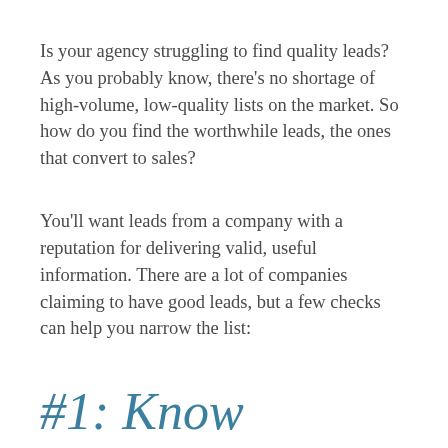Is your agency struggling to find quality leads? As you probably know, there's no shortage of high-volume, low-quality lists on the market. So how do you find the worthwhile leads, the ones that convert to sales?
You'll want leads from a company with a reputation for delivering valid, useful information. There are a lot of companies claiming to have good leads, but a few checks can help you narrow the list:
#1: Know